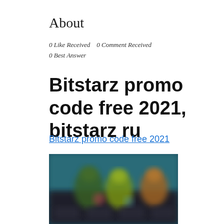About
0 Like Received    0 Comment Received
0 Best Answer
Bitstarz promo code free 2021, bitstarz ru
Bitstarz promo code free 2021
[Figure (photo): Blurred screenshot of a gaming/casino website with colorful characters and dark background]